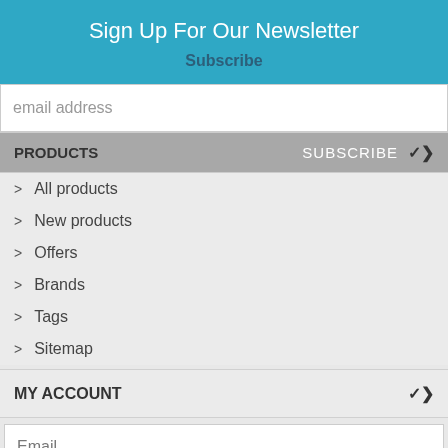Sign Up For Our Newsletter
Subscribe
email address
PRODUCTS    SUBSCRIBE
> All products
> New products
> Offers
> Brands
> Tags
> Sitemap
MY ACCOUNT
Email
Password